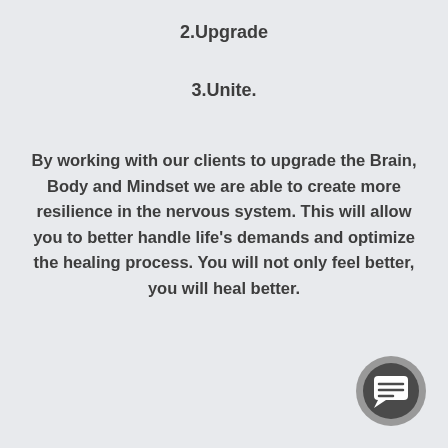2.Upgrade
3.Unite.
By working with our clients to upgrade the Brain, Body and Mindset we are able to create more resilience in the nervous system. This will allow you to better handle life's demands and optimize the healing process. You will not only feel better, you will heal better.
[Figure (illustration): Chat/messaging button icon — circular dark grey button with a speech bubble icon, surrounded by a lighter grey ring]